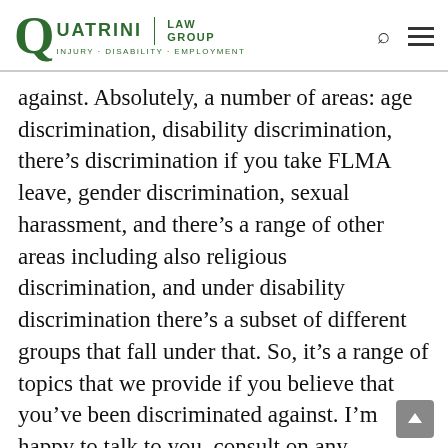Quatrini Law Group — Injury · Disability · Employment
against. Absolutely, a number of areas: age discrimination, disability discrimination, there’s discrimination if you take FLMA leave, gender discrimination, sexual harassment, and there’s a range of other areas including also religious discrimination, and under disability discrimination there’s a subset of different groups that fall under that. So, it’s a range of topics that we provide if you believe that you’ve been discriminated against. I’m happy to talk to you, consult on any questions that you have so I can evaluate whether there is a possible legal action. Well thanks, we’re really excited to have you here and QuatriniRafferty is always trying to